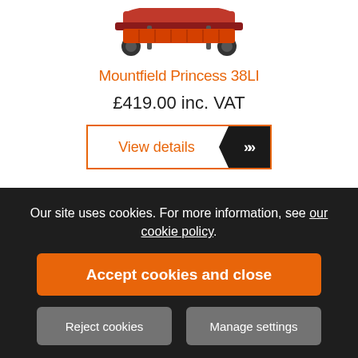[Figure (photo): Partial image of a red lawnmower (Mountfield Princess 38LI) cropped at the top, showing wheels and body]
Mountfield Princess 38LI
£419.00 inc. VAT
View details
Our site uses cookies. For more information, see our cookie policy.
Accept cookies and close
Reject cookies
Manage settings